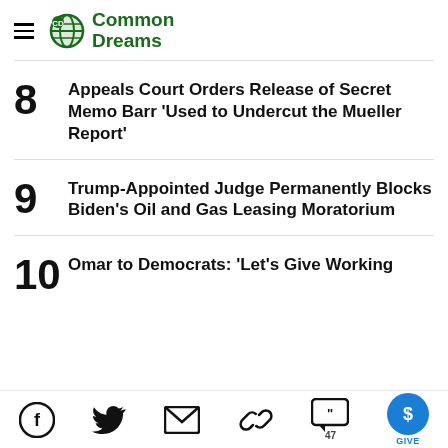Common Dreams
8 Appeals Court Orders Release of Secret Memo Barr 'Used to Undercut the Mueller Report'
9 Trump-Appointed Judge Permanently Blocks Biden's Oil and Gas Leasing Moratorium
10 Omar to Democrats: 'Let's Give Working
Social share icons: Facebook, Twitter, Mail, Link, Comments (47), GIVE